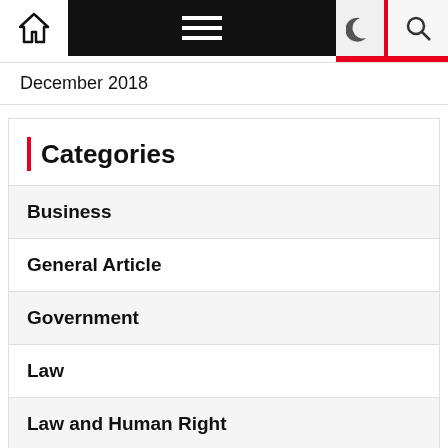Navigation bar with home, menu, moon, lightning, and search icons
December 2018
Categories
Business
General Article
Government
Law
Law and Human Right
Politic
Society